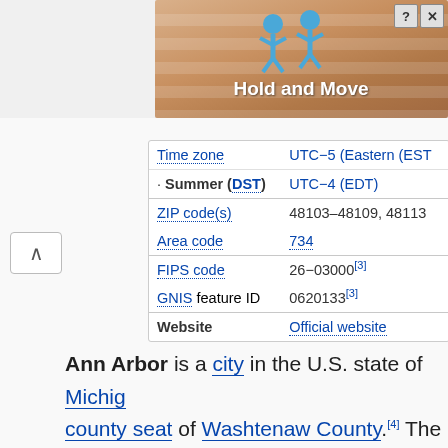[Figure (screenshot): Advertisement banner showing 'Hold and Move' game with blue cartoon characters, close and help buttons]
| Field | Value |
| --- | --- |
| Time zone | UTC−5 (Eastern (EST |
| · Summer (DST) | UTC−4 (EDT) |
| ZIP code(s) | 48103–48109, 48113 |
| Area code | 734 |
| FIPS code | 26−03000[3] |
| GNIS feature ID | 0620133[3] |
| Website | Official website |
Ann Arbor is a city in the U.S. state of Michigan, county seat of Washtenaw County.[4] The 2020 recorded its population to be 123,851.[5] It is the city of the Ann Arbor Metropolitan Statistical